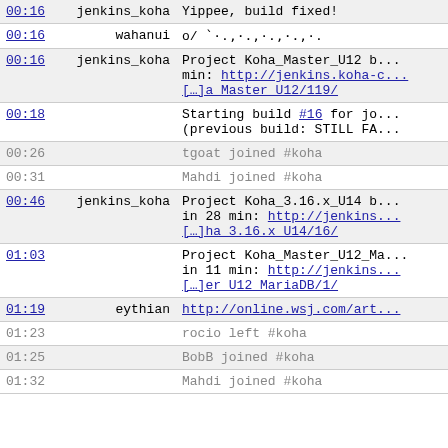| time | nick | message |
| --- | --- | --- |
| 00:16 | jenkins_koha | Yippee, build fixed! |
| 00:16 | wahanui | o/ `·.,·.,·.,·.,·. |
| 00:16 | jenkins_koha | Project Koha_Master_U12 b... min: http://jenkins.koha-c... [...] a Master U12/119/ |
| 00:18 |  | Starting build #16 for jo... (previous build: STILL FA... |
| 00:26 |  | tgoat joined #koha |
| 00:31 |  | Mahdi joined #koha |
| 00:46 | jenkins_koha | Project Koha_3.16.x_U14 b... in 28 min: http://jenkins... [...]ha 3.16.x U14/16/ |
| 01:03 |  | Project Koha_Master_U12_Ma... in 11 min: http://jenkins... [...]er U12 MariaDB/1/ |
| 01:19 | eythian | http://online.wsj.com/art... |
| 01:23 |  | rocio left #koha |
| 01:25 |  | BobB joined #koha |
| 01:32 |  | Mahdi joined #koha |